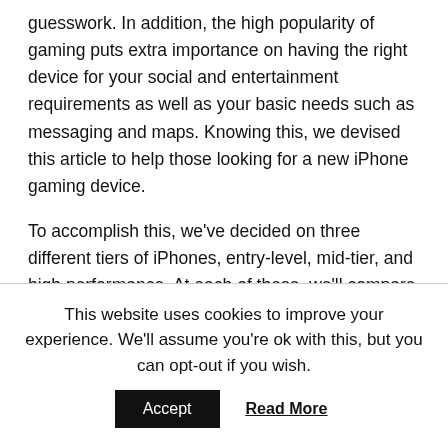guesswork. In addition, the high popularity of gaming puts extra importance on having the right device for your social and entertainment requirements as well as your basic needs such as messaging and maps. Knowing this, we devised this article to help those looking for a new iPhone gaming device.
To accomplish this, we've decided on three different tiers of iPhones, entry-level, mid-tier, and high performance. At each of these, we'll compare three different levels of gaming from entry-level games like bingo, to mid- and higher-demanding games like Call of Duty as measuring sticks. While bingo might be as freely accessible as you'd expect, there are still important factors to keep in mind.
This website uses cookies to improve your experience. We'll assume you're ok with this, but you can opt-out if you wish.